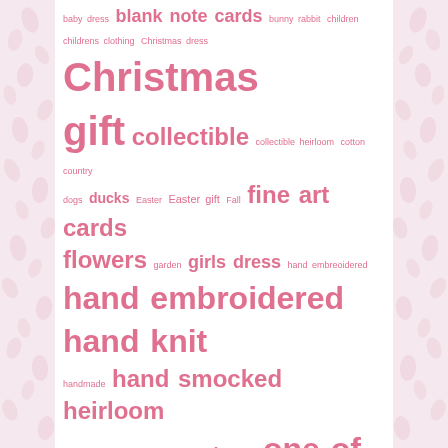[Figure (other): Decorative pink floral/leaf border on left and right sides of page]
baby dress blank note cards bunny rabbit children childrens clothing Christmas dress Christmas gift collectible collectible heirloom cotton country dogs ducks Easter Easter gift Fall fine art cards flowers garden girls dress hand embreoidered hand embroidered hand knit handmade hand smocked heirloom heirloom quality nursery decor one of a kind photographic note cards puppy dog rabbitwhiskers.com room decor scene size 1 size 4 snowman Spring stuffed animal toddler unique Valentine gift wall art wall hangings wearable art